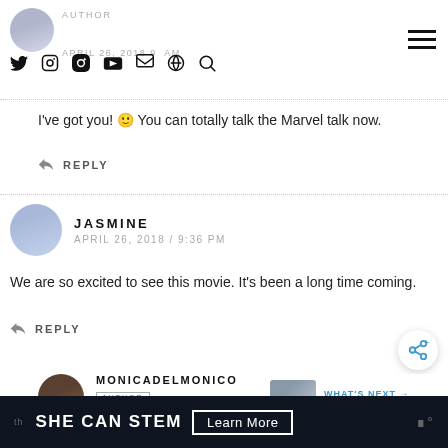AUTHOR — APRIL 26, 2018 9 AM (social nav icons)
I've got you! 🙂 You can totally talk the Marvel talk now.
↩ REPLY
JASMINE — APRIL 26, 2018 / 9:36 PM
We are so excited to see this movie. It's been a long time coming.
↩ REPLY
MONICADELMONICO — AUTHOR — APRIL 26, 2018 / 11:53 PM
WHAT'S NEXT → DIY: Hocus Pocus...
SHE CAN STEM   Learn More